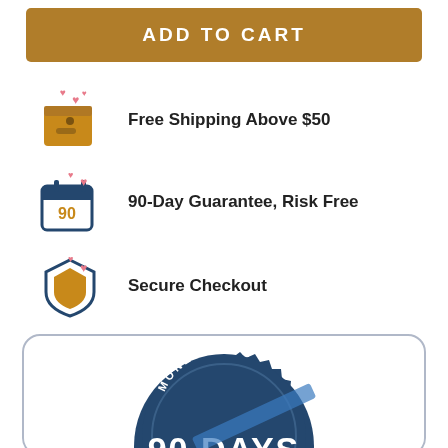[Figure (other): Gold/brown ADD TO CART button]
Free Shipping Above $50
90-Day Guarantee, Risk Free
Secure Checkout
[Figure (other): Money Back 90 Days guarantee badge/stamp, dark navy blue circular stamp design]